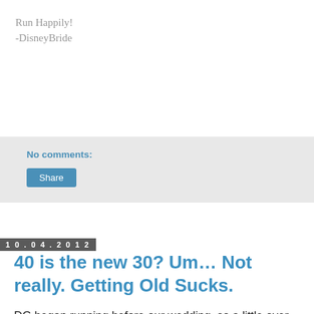Run Happily!
-DisneyBride
No comments:
Share
10.04.2012
40 is the new 30? Um… Not really. Getting Old Sucks.
DG began running before our wedding, so a little over 10 months ago.  He has dropped over 55 pounds and looks terrific.  He also gets very antsy and easily annoyed if he doesn't get his workout in.  So I may not have a cuddly couch potato to snuggle with, and watch movies, while nibbling on a mountain of nachos anymore.  But I have a hot...